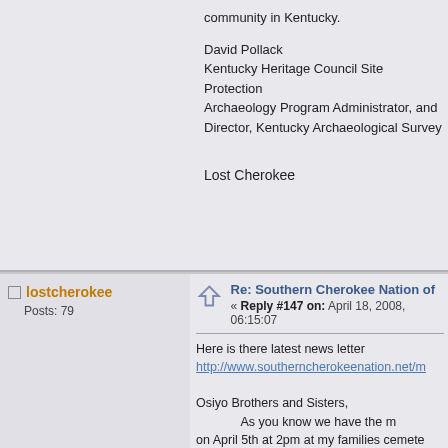community in Kentucky.
David Pollack
Kentucky Heritage Council Site Protection
Archaeology Program Administrator, and
Director, Kentucky Archaeological Survey
Lost Cherokee
lostcherokee
Posts: 79
Re: Southern Cherokee Nation of
« Reply #147 on: April 18, 2008, 06:15:07
Here is there latest news letter
http://www.southerncherokeenation.net/m
Osiyo Brothers and Sisters,
                As you know we have the m
on April 5th at 2pm at my families cemete
already buried there.  If anyone wished to
sacred event.  If you wish to bring items to
anything sacred to you to send with our b